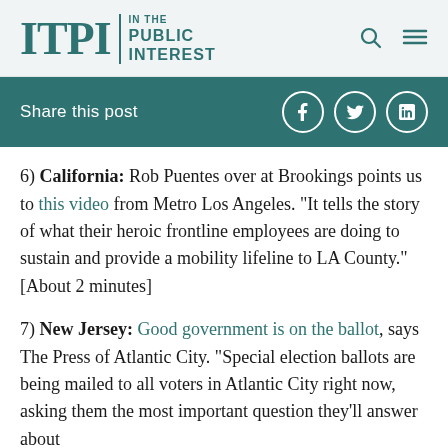ITPI | IN THE PUBLIC INTEREST
Share this post
6) California: Rob Puentes over at Brookings points us to this video from Metro Los Angeles. “It tells the story of what their heroic frontline employees are doing to sustain and provide a mobility lifeline to LA County.” [About 2 minutes]
7) New Jersey: Good government is on the ballot, says The Press of Atlantic City. “Special election ballots are being mailed to all voters in Atlantic City right now, asking them the most important question they’ll answer about